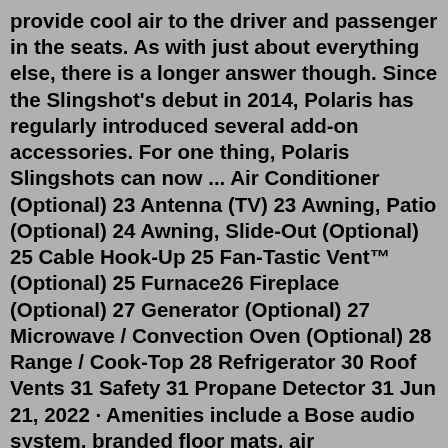provide cool air to the driver and passenger in the seats. As with just about everything else, there is a longer answer though. Since the Slingshot's debut in 2014, Polaris has regularly introduced several add-on accessories. For one thing, Polaris Slingshots can now ... Air Conditioner (Optional) 23 Antenna (TV) 23 Awning, Patio (Optional) 24 Awning, Slide-Out (Optional) 25 Cable Hook-Up 25 Fan-Tastic Vent™ (Optional) 25 Furnace26 Fireplace (Optional) 27 Generator (Optional) 27 Microwave / Convection Oven (Optional) 28 Range / Cook-Top 28 Refrigerator 30 Roof Vents 31 Safety 31 Propane Detector 31 Jun 21, 2022 · Amenities include a Bose audio system, branded floor mats, air conditioning, and power-adjustable and heated seats. The bed looks just as clean as the interior, which is nice to see on a pickup . Find specifications for CrossRoads Slingshot Travel Trailer RVs. Search for specific CrossRoads Slingshot Travel Trailer information. Sling shots, air guns, and spear guns aren't effective. Slingshots also lack